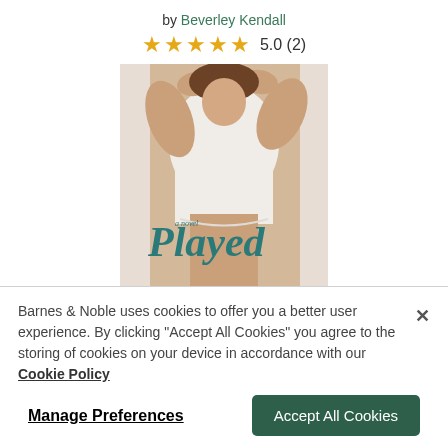by Beverley Kendall
★★★★★  5.0 (2)
[Figure (photo): Book cover of 'Played' by Beverley Kendall showing a muscular man in a white tank top leaning against a wall with the title 'Played' in teal serif font]
Barnes & Noble uses cookies to offer you a better user experience. By clicking "Accept All Cookies" you agree to the storing of cookies on your device in accordance with our Cookie Policy
Manage Preferences
Accept All Cookies